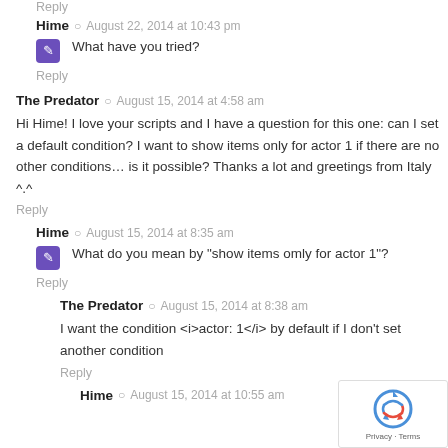Reply
Hime  ○  August 22, 2014 at 10:43 pm
What have you tried?
Reply
The Predator  ○  August 15, 2014 at 4:58 am
Hi Hime! I love your scripts and I have a question for this one: can I set a default condition? I want to show items only for actor 1 if there are no other conditions… is it possible? Thanks a lot and greetings from Italy ^.^
Reply
Hime  ○  August 15, 2014 at 8:35 am
What do you mean by "show items omly for actor 1"?
Reply
The Predator  ○  August 15, 2014 at 8:38 am
I want the condition <i>actor: 1</i> by default if I don't set another condition
Reply
Hime  ○  August 15, 2014 at 10:55 am